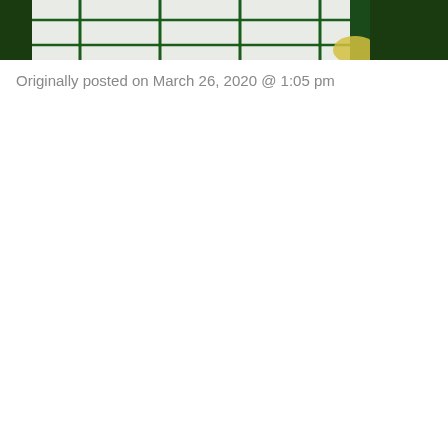[Figure (photo): Partial photo of a person wearing a white garment with dark green stripes or grid lines, with what appears to be a yellow gloved hand visible. Dark green background.]
Originally posted on March 26, 2020 @ 1:05 pm